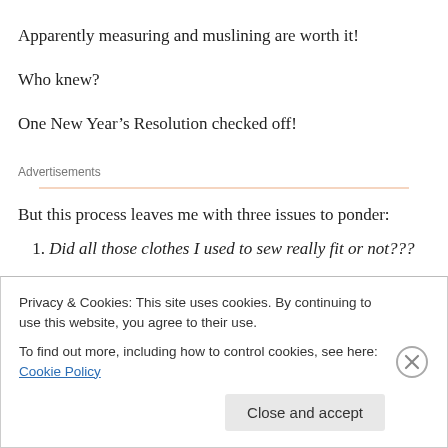Apparently measuring and muslining are worth it!
Who knew?
One New Year’s Resolution checked off!
Advertisements
But this process leaves me with three issues to ponder:
1. Did all those clothes I used to sew really fit or not???
Privacy & Cookies: This site uses cookies. By continuing to use this website, you agree to their use.
To find out more, including how to control cookies, see here: Cookie Policy
Close and accept